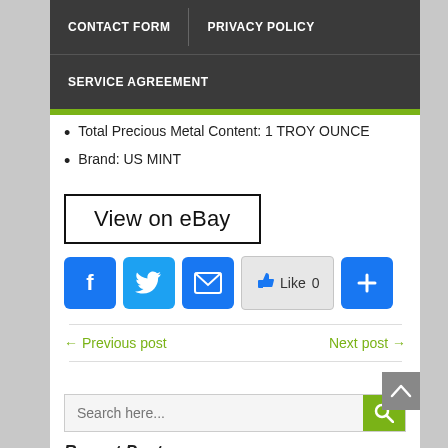CONTACT FORM | PRIVACY POLICY | SERVICE AGREEMENT
Total Precious Metal Content: 1 TROY OUNCE
Brand: US MINT
[Figure (screenshot): View on eBay button — black border rectangle with text 'View on eBay']
[Figure (screenshot): Social share buttons: Facebook, Twitter, Email, Like (0), Plus]
← Previous post    Next post →
[Figure (screenshot): Search box with placeholder 'Search here...' and green search button]
Recent Posts